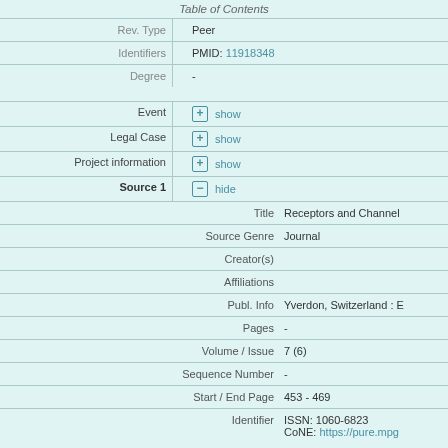Table of Contents
| Field | Value |
| --- | --- |
| Rev. Type | Peer |
| Identifiers | PMID: 11918348 |
| Degree | - |
| Event | show |
| Legal Case | show |
| Project information | show |
| Source 1 | hide |
| Title | Receptors and Channe... |
| Source Genre | Journal |
| Creator(s) |  |
| Affiliations |  |
| Publ. Info | Yverdon, Switzerland : ... |
| Pages | - |
| Volume / Issue | 7 (6) |
| Sequence Number | - |
| Start / End Page | 453 - 469 |
| Identifier | ISSN: 1060-6823
CoNE: https://pure.mpg... |